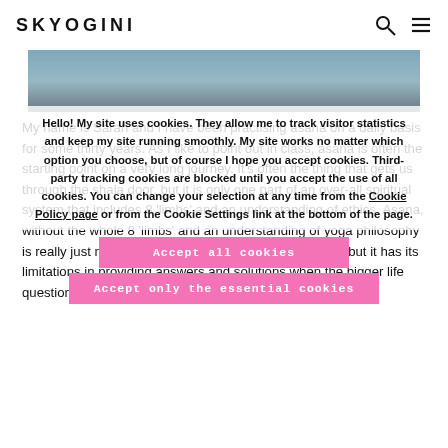SKYOGINI
[Figure (photo): Partial photo strip showing blurred background image, cropped at top]
My name is Sarah and I have been practising asana on a daily basis for some thirty years. As I like to point out in class, asana is often the starting point on a very long journey. It's often the thing that gets us through the shala door, but it is only one part of an over-all spiritual system that includes 8 'limbs' and an understanding of ethics. Asana, without the whole 8 'limbs' and an understanding of yoga philosophy is really just movement. Nothing wrong with movement, but it has its limitations in providing answers and solutions when the bigger life questions emerge. Movement on its own is not yoga….
Hello! My site uses cookies. They allow me to track visitor statistics and keep my site running smoothly. My site works no matter which option you choose, but of course I hope you accept cookies. Third-party tracking cookies are blocked until you accept the use of all cookies. You can change your selection at any time from the Cookie Policy page or from the Cookie Settings link at the bottom of the page.
Accept all cookies
Accept only the essential cookies